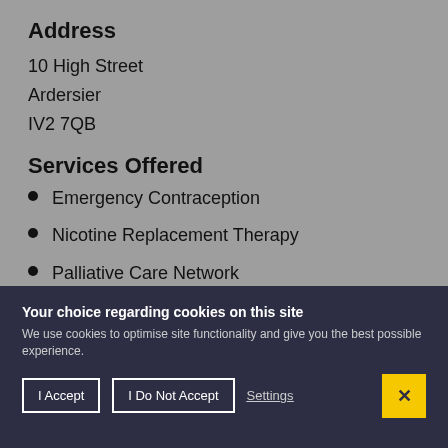Address
10 High Street
Ardersier
IV2 7QB
Services Offered
Emergency Contraception
Nicotine Replacement Therapy
Palliative Care Network
Pharmacy First
Supervised Buprenorphine Service
Supervised Methadone Supply
Your choice regarding cookies on this site
We use cookies to optimise site functionality and give you the best possible experience.
I Accept  I Do Not Accept  Settings  X